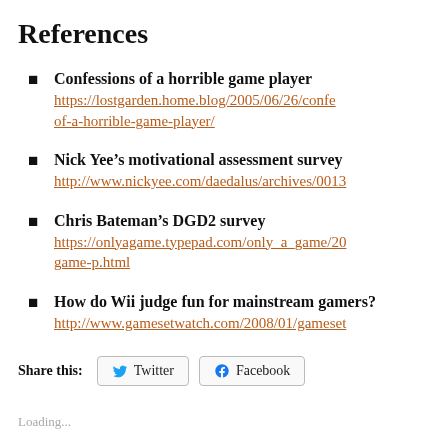References
Confessions of a horrible game player https://lostgarden.home.blog/2005/06/26/confe-of-a-horrible-game-player/
Nick Yee’s motivational assessment survey http://www.nickyee.com/daedalus/archives/0013
Chris Bateman’s DGD2 survey https://onlyagame.typepad.com/only_a_game/20-game-p.html
How do Wii judge fun for mainstream gamers? http://www.gamesetwatch.com/2008/01/gameset
Share this:
Loading...